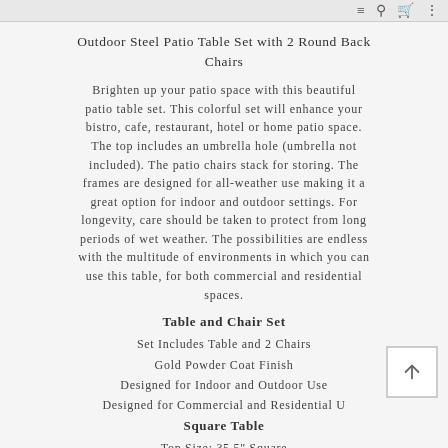≡ 🔍 🛒 |||
Outdoor Steel Patio Table Set with 2 Round Back Chairs
Brighten up your patio space with this beautiful patio table set. This colorful set will enhance your bistro, cafe, restaurant, hotel or home patio space. The top includes an umbrella hole (umbrella not included). The patio chairs stack for storing. The frames are designed for all-weather use making it a great option for indoor and outdoor settings. For longevity, care should be taken to protect from long periods of wet weather. The possibilities are endless with the multitude of environments in which you can use this table, for both commercial and residential spaces.
Table and Chair Set
Set Includes Table and 2 Chairs
Gold Powder Coat Finish
Designed for Indoor and Outdoor Use
Designed for Commercial and Residential Use
Square Table
Top Size: 35.5" Square